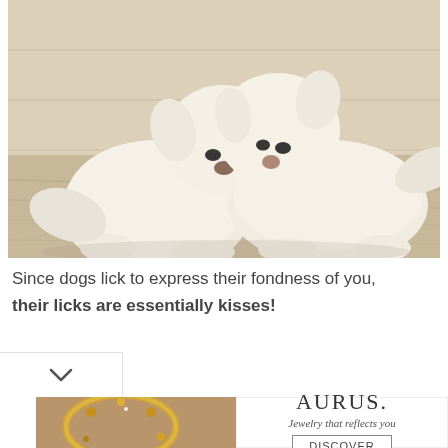[Figure (photo): Two white fluffy puppies facing each other, appearing to nuzzle or kiss noses, on a light wooden floor background]
Since dogs lick to express their fondness of you, their licks are essentially kisses!
[Figure (illustration): Advertisement for AURUS jewelry showing a golden bracelet with the text 'AURUS. Jewelry that reflects you' and a DISCOVER button]